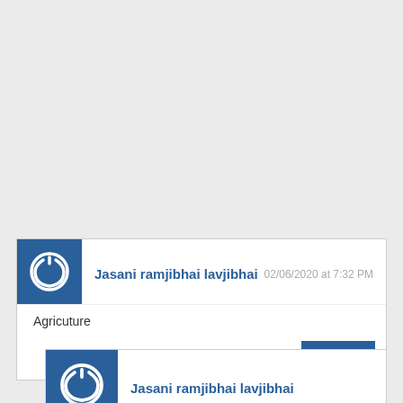Jasani ramjibhai lavjibhai — 02/06/2020 at 7:32 PM — Agricuture — Reply
Jasani ramjibhai lavjibhai — 02/06/2020 at 7:33 PM